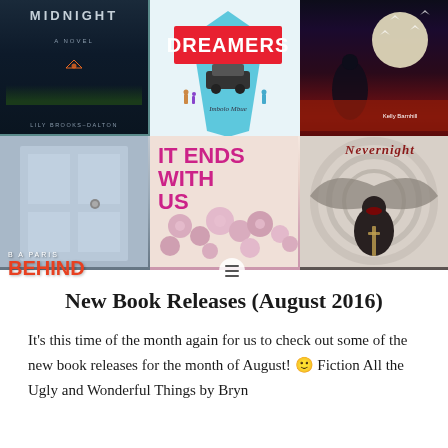[Figure (photo): A 3x2 grid of book covers: (1) 'Midnight: A Novel' by Lily Brooks-Dalton — dark night sky cover; (2) 'Dreamers' by Imbolo Mbue — colorful tie-shaped cover; (3) Kelly Barnhill book — dark fantasy cover with girl and moon; (4) 'Behind Closed Doors' by B A Paris — grey metallic door cover; (5) 'It Ends With Us' — pink floral cover with bold magenta text; (6) 'Nevernight' — dark fantasy cover with winged figure.]
New Book Releases (August 2016)
It's this time of the month again for us to check out some of the new book releases for the month of August! 🙂 Fiction All the Ugly and Wonderful Things by Bryn